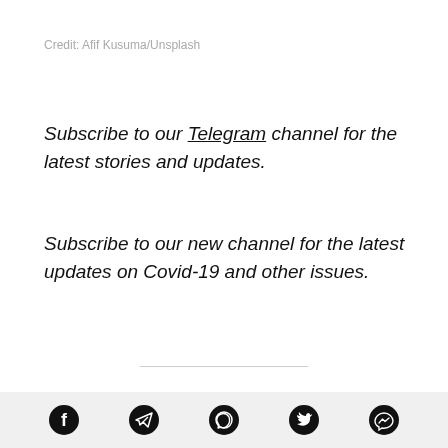Credit: Afif Kusuma/Unsplash
Subscribe to our Telegram channel for the latest stories and updates.
Subscribe to our new channel for the latest updates on Covid-19 and other issues.
The Malaysian Communications and Multimedia Commission announced yesterday that five local telecommunications companies (telcos) have agreed
Social share icons: Facebook, Telegram, WhatsApp, Twitter, Messenger